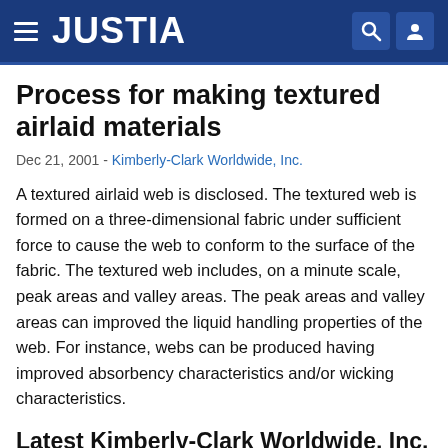JUSTIA
Process for making textured airlaid materials
Dec 21, 2001 - Kimberly-Clark Worldwide, Inc.
A textured airlaid web is disclosed. The textured web is formed on a three-dimensional fabric under sufficient force to cause the web to conform to the surface of the fabric. The textured web includes, on a minute scale, peak areas and valley areas. The peak areas and valley areas can improved the liquid handling properties of the web. For instance, webs can be produced having improved absorbency characteristics and/or wicking characteristics.
Latest Kimberly-Clark Worldwide, Inc. Patents: